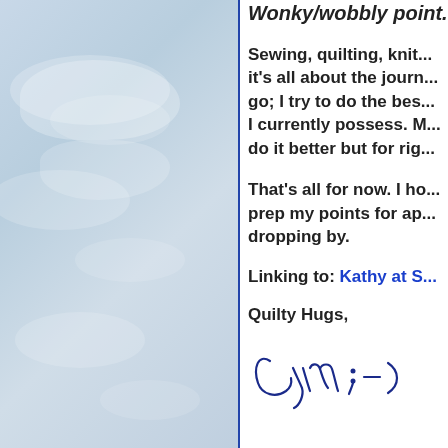[Figure (photo): Light blue sky with soft white clouds, occupying the left half of the page, separated by a vertical blue line on the right edge.]
Wonky/wobbly point...
Sewing, quilting, knit... it's all about the journ... go; I try to do the bes... I currently possess. M... do it better but for rig...
That's all for now. I ho... prep my points for ap... dropping by.
Linking to: Kathy at S...
Quilty Hugs,
[Figure (illustration): Handwritten cursive signature reading 'Cyn ;-)' in blue ink]